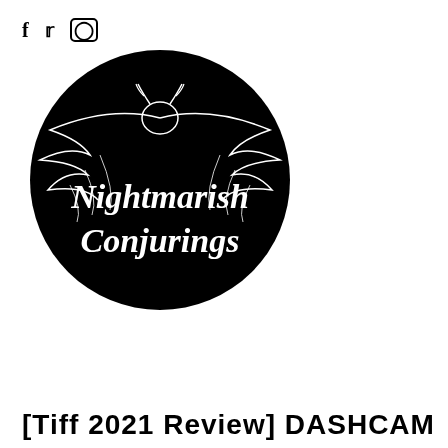f  ⓣ  ⓘ
[Figure (logo): Circular black logo with a bat/dragon creature spreading wings at the top, and white script text reading 'Nightmarish Conjurings' in the center]
[Figure (screenshot): Black navigation menu bar with hamburger icon and MENU text in white, and a red scroll-to-top button with a chevron up arrow on the right]
[Tiff 2021 Review] DASHCAM